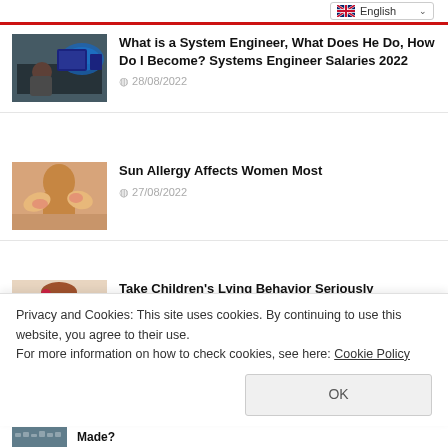English
[Figure (photo): Person sitting at a computer with world map display (system engineer thumbnail)]
What is a System Engineer, What Does He Do, How Do I Become? Systems Engineer Salaries 2022
28/08/2022
[Figure (photo): Woman with sun allergy on hands and face (sun allergy article thumbnail)]
Sun Allergy Affects Women Most
27/08/2022
[Figure (photo): Child covering mouth with hands (lying behavior article thumbnail)]
Take Children's Lying Behavior Seriously
27/08/2022
Privacy and Cookies: This site uses cookies. By continuing to use this website, you agree to their use.
For more information on how to check cookies, see here: Cookie Policy
OK
[Figure (photo): Keyboard thumbnail for bottom article]
Made?